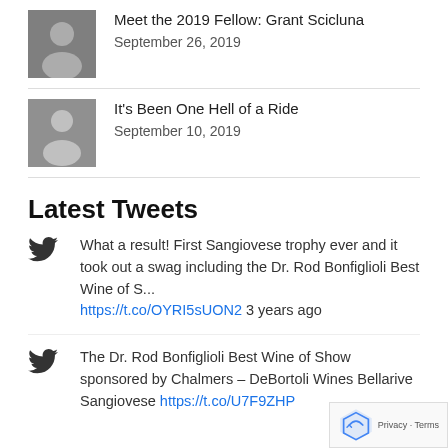[Figure (photo): Thumbnail photo of Grant Scicluna]
Meet the 2019 Fellow: Grant Scicluna
September 26, 2019
[Figure (photo): Thumbnail photo for 'It's Been One Hell of a Ride']
It's Been One Hell of a Ride
September 10, 2019
Latest Tweets
What a result! First Sangiovese trophy ever and it took out a swag including the Dr. Rod Bonfiglioli Best Wine of S... https://t.co/OYRI5sUON2 3 years ago
The Dr. Rod Bonfiglioli Best Wine of Show sponsored by Chalmers – DeBortoli Wines Bellarive Sangiovese https://t.co/U7F9ZHP